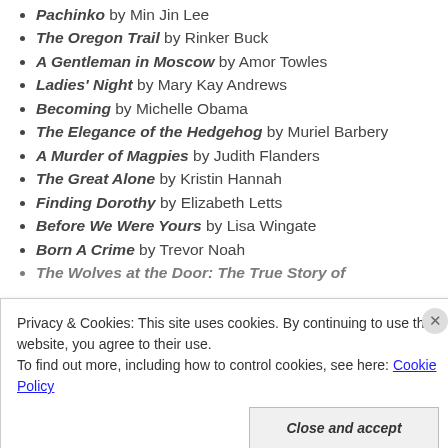Pachinko by Min Jin Lee
The Oregon Trail by Rinker Buck
A Gentleman in Moscow by Amor Towles
Ladies' Night by Mary Kay Andrews
Becoming by Michelle Obama
The Elegance of the Hedgehog by Muriel Barbery
A Murder of Magpies by Judith Flanders
The Great Alone by Kristin Hannah
Finding Dorothy by Elizabeth Letts
Before We Were Yours by Lisa Wingate
Born A Crime by Trevor Noah
The Wolves at the Door: The True Story of (partial)
Privacy & Cookies: This site uses cookies. By continuing to use this website, you agree to their use. To find out more, including how to control cookies, see here: Cookie Policy
Close and accept